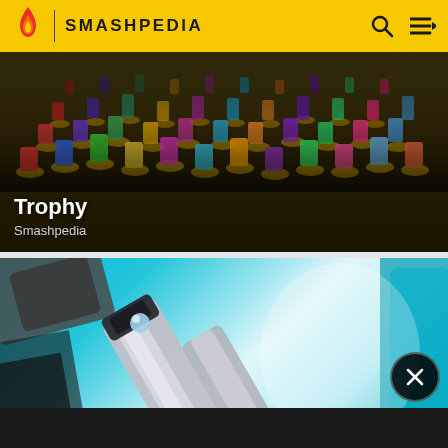SMASHPEDIA
[Figure (screenshot): Collection of colorful Nintendo Amiibo trophy figurines arranged in a large group on golden bases, dark background with gradient overlay]
Trophy
Smashpedia
[Figure (screenshot): Close-up 3D render of a metallic robot or weapon part on a teal/cyan background, partially visible with blurred foreground elements]